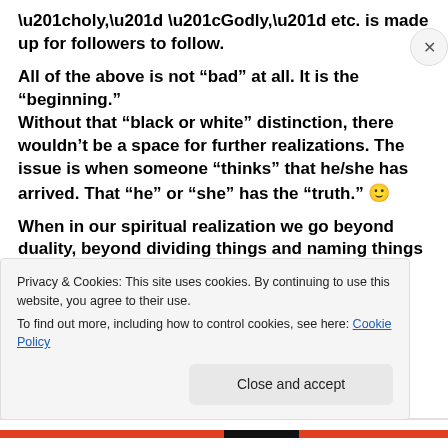“holy,” “Godly,” etc. is made up for followers to follow.
All of the above is not “bad” at all. It is the “beginning.”
Without that “black or white” distinction, there wouldn’t be a space for further realizations. The issue is when someone “thinks” that he/she has arrived. That “he” or “she” has the “truth.” 🙂
When in our spiritual realization we go beyond duality, beyond dividing things and naming things as “good,”
Privacy & Cookies: This site uses cookies. By continuing to use this website, you agree to their use.
To find out more, including how to control cookies, see here: Cookie Policy